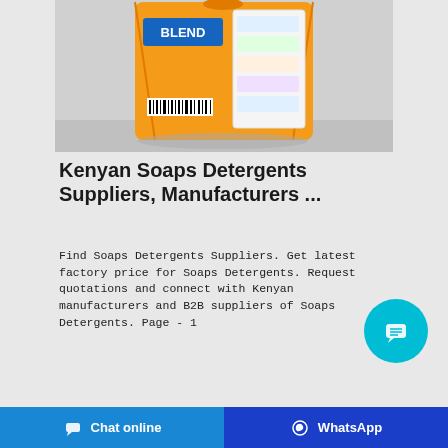[Figure (photo): Orange bag of laundry detergent/soap powder product (Blend brand) on a light gray background]
Kenyan Soaps Detergents Suppliers, Manufacturers ...
Find Soaps Detergents Suppliers. Get latest factory price for Soaps Detergents. Request quotations and connect with Kenyan manufacturers and B2B suppliers of Soaps Detergents. Page - 1
[Figure (illustration): Cyan circular chat/support button in bottom-right area]
Chat online   WhatsApp